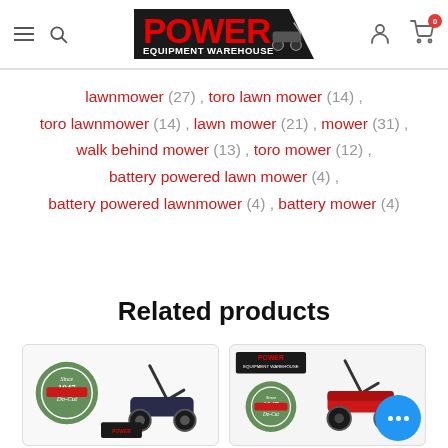Power Equipment Warehouse - navigation header
lawnmower (27) , toro lawn mower (14) , toro lawnmower (14) , lawn mower (21) , mower (31) , walk behind mower (13) , toro mower (12) , battery powered lawn mower (4) , battery powered lawnmower (4) , battery mower (4)
Related products
[Figure (photo): Product card showing a lawn mower with Power Equipment Warehouse branding and Since 1947 Do-Cut badge]
[Figure (photo): Product card showing a Toro lawn mower with Power Equipment Warehouse branding and Since 1947 Do-Cut badge, with chat bubble overlay]